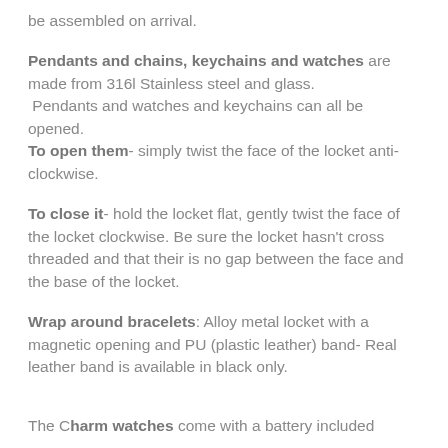be assembled on arrival.
Pendants and chains, keychains and watches are made from 316l Stainless steel and glass. Pendants and watches and keychains can all be opened. To open them- simply twist the face of the locket anti-clockwise.
To close it- hold the locket flat, gently twist the face of the locket clockwise. Be sure the locket hasn't cross threaded and that their is no gap between the face and the base of the locket.
Wrap around bracelets: Alloy metal locket with a magnetic opening and PU (plastic leather) band- Real leather band is available in black only.
The Charm watches come with a battery included